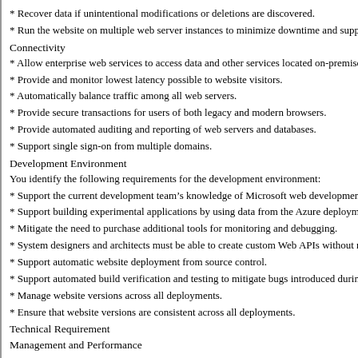* Recover data if unintentional modifications or deletions are discovered.
* Run the website on multiple web server instances to minimize downtime and support
Connectivity
* Allow enterprise web services to access data and other services located on-premises.
* Provide and monitor lowest latency possible to website visitors.
* Automatically balance traffic among all web servers.
* Provide secure transactions for users of both legacy and modern browsers.
* Provide automated auditing and reporting of web servers and databases.
* Support single sign-on from multiple domains.
Development Environment
You identify the following requirements for the development environment:
* Support the current development team’s knowledge of Microsoft web development an
* Support building experimental applications by using data from the Azure deployment
* Mitigate the need to purchase additional tools for monitoring and debugging.
* System designers and architects must be able to create custom Web APIs without requ
* Support automatic website deployment from source control.
* Support automated build verification and testing to mitigate bugs introduced during b
* Manage website versions across all deployments.
* Ensure that website versions are consistent across all deployments.
Technical Requirement
Management and Performance
Management
* Manage this service through the built-in Azure Studio